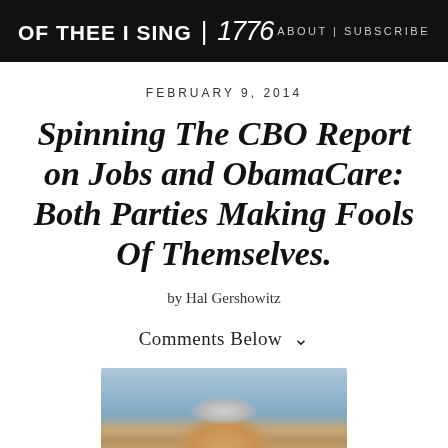OF THEE I SING | 1776   ABOUT | SUBSCRIBE
FEBRUARY 9, 2014
Spinning The CBO Report on Jobs and ObamaCare: Both Parties Making Fools Of Themselves.
by Hal Gershowitz
Comments Below ˅
[Figure (photo): Partial photo of a person, showing top of head with gray/white hair against a light blue sky background]